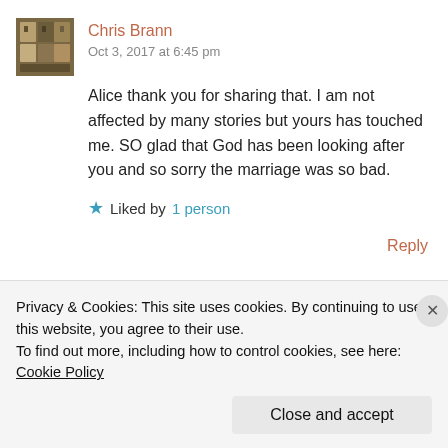Chris Brann
Oct 3, 2017 at 6:45 pm
Alice thank you for sharing that. I am not affected by many stories but yours has touched me. SO glad that God has been looking after you and so sorry the marriage was so bad.
Liked by 1 person
Reply
Privacy & Cookies: This site uses cookies. By continuing to use this website, you agree to their use.
To find out more, including how to control cookies, see here: Cookie Policy
Close and accept